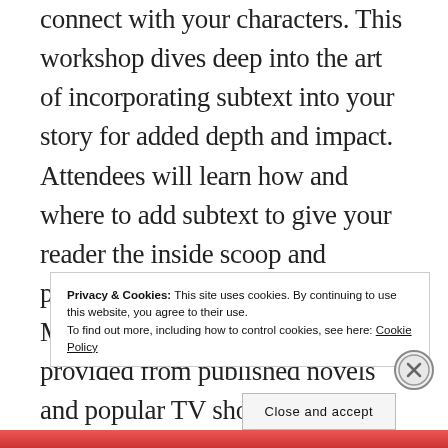connect with your characters. This workshop dives deep into the art of incorporating subtext into your story for added depth and impact. Attendees will learn how and where to add subtext to give your reader the inside scoop and provide greater emotional impact. Multiple examples will be provided from published novels and popular TV shows, and provides exercises for the authors to create their own subtext on the spot as time allows.
Privacy & Cookies: This site uses cookies. By continuing to use this website, you agree to their use. To find out more, including how to control cookies, see here: Cookie Policy
Close and accept